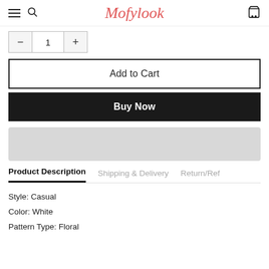Mofylook
- 1 +
Add to Cart
Buy Now
[Figure (other): Grey placeholder banner]
Product Description  Shipping & Delivery  Return/Ref
Style: Casual
Color: White
Pattern Type: Floral